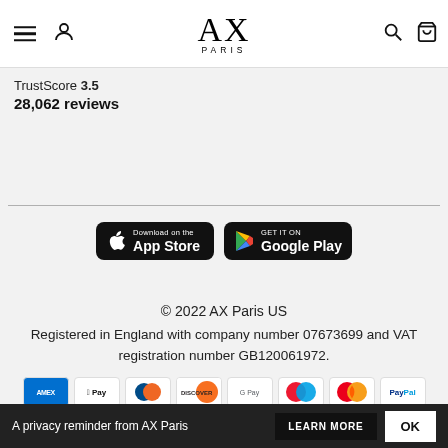AX PARIS navigation header with hamburger menu, profile icon, logo, search icon, and cart icon
TrustScore 3.5
28,062 reviews
[Figure (logo): App Store and Google Play download buttons]
© 2022 AX Paris US
Registered in England with company number 07673699 and VAT registration number GB120061972.
[Figure (other): Payment method icons: Amex, Apple Pay, Diners Club, Discover, Google Pay, Maestro, Mastercard, PayPal, DPay, Visa]
A privacy reminder from AX Paris LEARN MORE OK